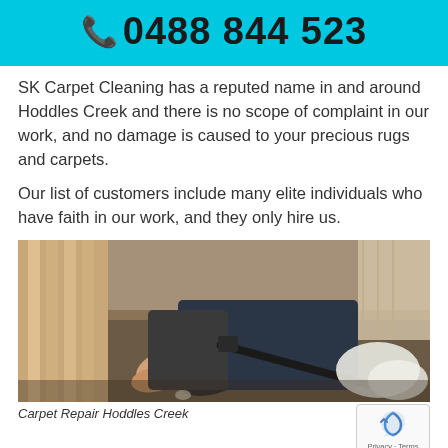📞 0488 844 523
SK Carpet Cleaning has a reputed name in and around Hoddles Creek and there is no scope of complaint in our work, and no damage is caused to your precious rugs and carpets.
Our list of customers include many elite individuals who have faith in our work, and they only hire us.
[Figure (photo): A person kneeling on carpet performing carpet repair/cleaning with a tool, showing legs and hands working on the floor.]
Carpet Repair Hoddles Creek
Our Carpet Repair Hoddles Creek Services